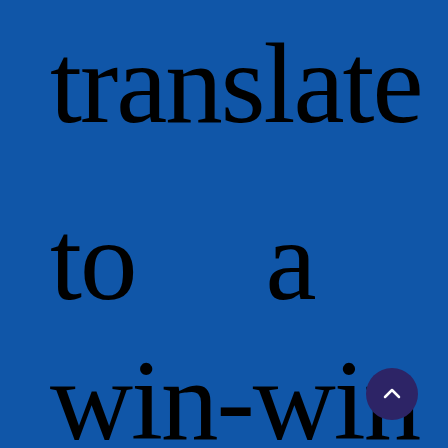translate to a win-win
[Figure (illustration): Dark purple circular scroll-up button with a caret/chevron arrow pointing upward, positioned in the bottom-right corner of the page]